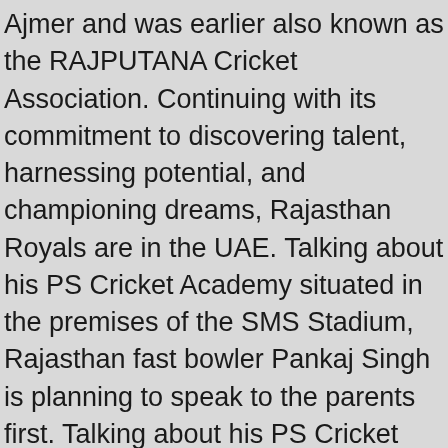Ajmer and was earlier also known as the RAJPUTANA Cricket Association. Continuing with its commitment to discovering talent, harnessing potential, and championing dreams, Rajasthan Royals are in the UAE. Talking about his PS Cricket Academy situated in the premises of the SMS Stadium, Rajasthan fast bowler Pankaj Singh is planning to speak to the parents first. Talking about his PS Cricket Academy situated in the premises of the SMS Stadium, Rajasthan fast bowler Pankaj Singh is planning to speak to the parents first. Check price and Get upto 70% OFF with Booking of Hotel Near Rajasthan Cricket Academy. CLOSEST Hotels to Rajasthan Cricket Academy - Get the Best deals on Hotels Near Rajasthan Cricket Academy. Check the best Cricket Academy list in Rajasthan. Very best greetings from RCA Academy Jaipur It is of immense pleasure for us to introduce ourselves as RCA Cricket Academy Jaipur, situated at the heart of the